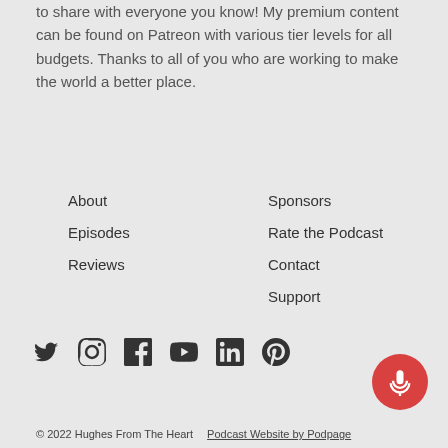to share with everyone you know! My premium content can be found on Patreon with various tier levels for all budgets. Thanks to all of you who are working to make the world a better place.
About
Episodes
Reviews
Sponsors
Rate the Podcast
Contact
Support
[Figure (other): Social media icons: Twitter, Instagram, Facebook, YouTube, LinkedIn, Pinterest]
[Figure (other): Red circular microphone button]
© 2022 Hughes From The Heart   Podcast Website by Podpage